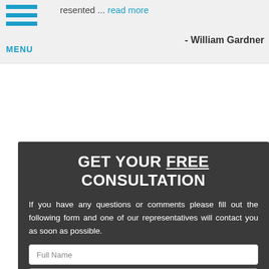presented ... read more
- William Gardner
GET YOUR FREE CONSULTATION
If you have any questions or comments please fill out the following form and one of our representatives will contact you as soon as possible.
Full Name
Best Phone
Email Address
How Can We Help You?